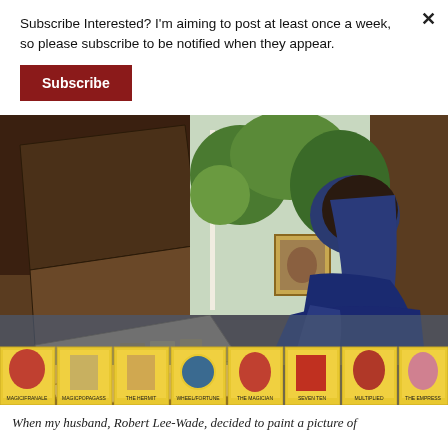Subscribe Interested? I'm aiming to post at least once a week, so please subscribe to be notified when they appear.
Subscribe
[Figure (illustration): A painting showing a person in a blue robe viewed from behind, sitting at a table with an open book of tarot cards. A row of colorful tarot cards is displayed along the bottom of the image. A window with green foliage is visible in the background.]
When my husband, Robert Lee-Wade, decided to paint a picture of